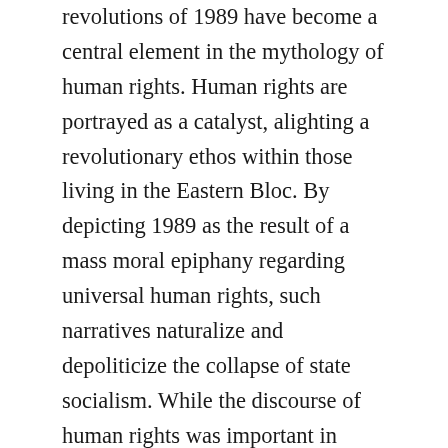revolutions of 1989 have become a central element in the mythology of human rights. Human rights are portrayed as a catalyst, alighting a revolutionary ethos within those living in the Eastern Bloc. By depicting 1989 as the result of a mass moral epiphany regarding universal human rights, such narratives naturalize and depoliticize the collapse of state socialism. While the discourse of human rights was important in unifying dissident groups, it had also been used to by socialist states to legitimize dictatorial rule. During the Arab Spring, international commentators and local actors invoked this mythological version of 1989 to declare that a similar awakening was once again taking place and that human rights were sure to triumph over dictatorship. The example of Egypt appeared to mirror that of 1989 with mass demonstrations for human rights, prompting optimism that a similar revolutionary